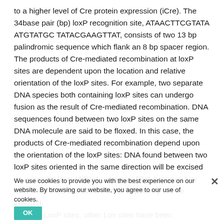to a higher level of Cre protein expression (iCre). The 34base pair (bp) loxP recognition site, ATAACTTCGTATA ATGTATGC TATACGAAGTTAT, consists of two 13 bp palindromic sequence which flank an 8 bp spacer region. The products of Cre-mediated recombination at loxP sites are dependent upon the location and relative orientation of the loxP sites. For example, two separate DNA species both containing loxP sites can undergo fusion as the result of Cre-mediated recombination. DNA sequences found between two loxP sites on the same DNA molecule are said to be floxed. In this case, the products of Cre-mediated recombination depend upon the orientation of the loxP sites: DNA found between two loxP sites oriented in the same direction will be excised as a circular loop of DNA, whereas DNA between two loxP sites that are oriented oppositely will be inverted. Besides LoxP sites, other Lox sites have been
We use cookies to provide you with the best experience on our website. By browsing our website, you agree to our use of cookies.